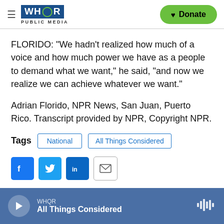WHQR PUBLIC MEDIA — Donate
FLORIDO: "We hadn't realized how much of a voice and how much power we have as a people to demand what we want," he said, "and now we realize we can achieve whatever we want."
Adrian Florido, NPR News, San Juan, Puerto Rico. Transcript provided by NPR, Copyright NPR.
Tags  National  All Things Considered
[Figure (other): Social sharing icons: Facebook, Twitter, LinkedIn, Email]
WHQR — All Things Considered (audio player)